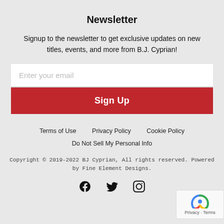Newsletter
Signup to the newsletter to get exclusive updates on new titles, events, and more from B.J. Cyprian!
Enter your email
Sign Up
Terms of Use   Privacy Policy   Cookie Policy
Do Not Sell My Personal Info
Copyright © 2019-2022 BJ Cyprian, All rights reserved. Powered by Fine Element Designs.
[Figure (illustration): Social media icons: Facebook, Twitter, Instagram]